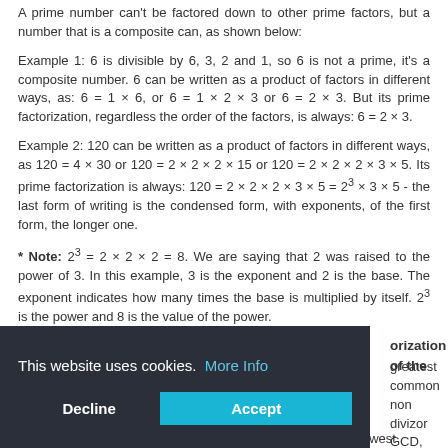A prime number can't be factored down to other prime factors, but a number that is a composite can, as shown below:
Example 1: 6 is divisible by 6, 3, 2 and 1, so 6 is not a prime, it's a composite number. 6 can be written as a product of factors in different ways, as: 6 = 1 × 6, or 6 = 1 × 2 × 3 or 6 = 2 × 3. But its prime factorization, regardless the order of the factors, is always: 6 = 2 × 3.
Example 2: 120 can be written as a product of factors in different ways, as 120 = 4 × 30 or 120 = 2 × 2 × 2 × 15 or 120 = 2 × 2 × 2 × 3 × 5. Its prime factorization is always: 120 = 2 × 2 × 2 × 3 × 5 = 2^3 × 3 × 5 - the last form of writing is the condensed form, with exponents, of the first form, the longer one.
* Note: 2^3 = 2 × 2 × 2 = 8. We are saying that 2 was raised to the power of 3. In this example, 3 is the exponent and 2 is the base. The exponent indicates how many times the base is multiplied by itself. 2^3 is the power and 8 is the value of the power.
This website uses cookies.  More Info
Decline  Accept
orization of the
greatest common non divizor GCD,
GCF is needed when reducing (simplifying) fractions to the lowest terms.